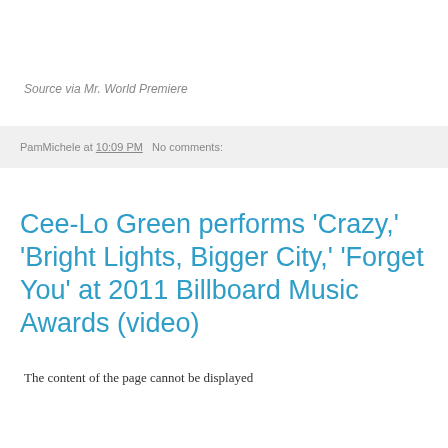Source via Mr. World Premiere
PamMichele at 10:09 PM   No comments:
Cee-Lo Green performs 'Crazy,' 'Bright Lights, Bigger City,' 'Forget You' at 2011 Billboard Music Awards (video)
The content of the page cannot be displayed